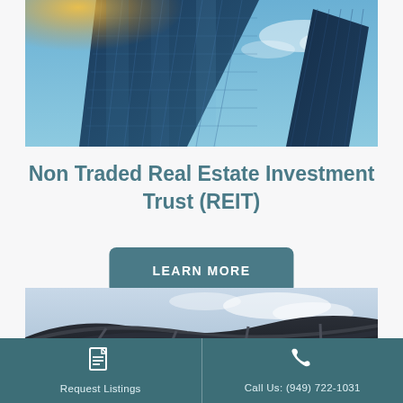[Figure (photo): Upward-angled photo of modern glass skyscrapers against a blue sky with sunlight flare]
Non Traded Real Estate Investment Trust (REIT)
LEARN MORE
[Figure (photo): Close-up photo of the curved canopy/overhang of a modern commercial building against a light sky]
Request Listings | Call Us: (949) 722-1031